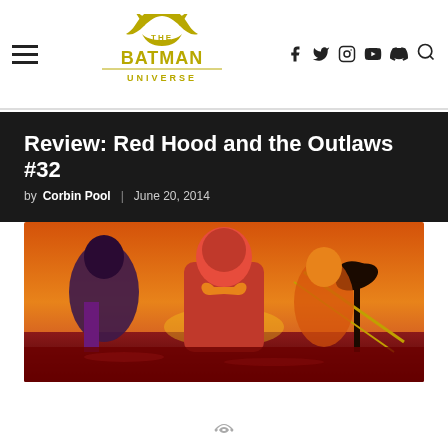The Batman Universe — navigation header with logo, social icons (Facebook, Twitter, Instagram, YouTube, Discord), and search
Review: Red Hood and the Outlaws #32
by Corbin Pool | June 20, 2014
[Figure (photo): Comic book cover or interior art showing Red Hood and the Outlaws characters against a warm sunset/orange background]